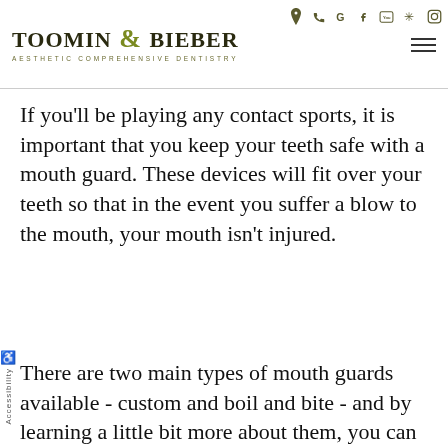Toomin & Bieber Aesthetic Comprehensive Dentistry
If you'll be playing any contact sports, it is important that you keep your teeth safe with a mouth guard. These devices will fit over your teeth so that in the event you suffer a blow to the mouth, your mouth isn't injured.
There are two main types of mouth guards available - custom and boil and bite - and by learning a little bit more about them, you can choose the option that is right for you.